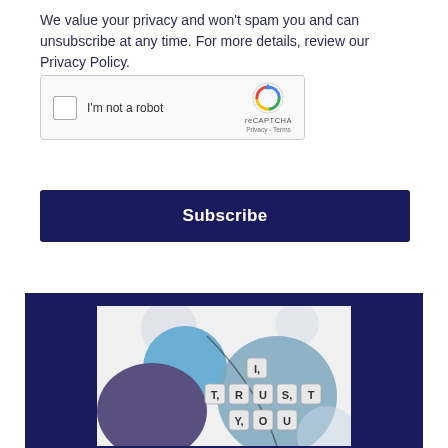We value your privacy and won't spam you and can unsubscribe at any time. For more details, review our Privacy Policy.
[Figure (screenshot): reCAPTCHA widget with checkbox and 'I'm not a robot' text, with reCAPTCHA logo, Privacy and Terms links]
[Figure (other): Subscribe button — dark navy blue rectangular button with bold white 'Subscribe' text]
[Figure (illustration): Illustration with dark navy blue background showing circles and letter tiles spelling 'I, TRUST, YOU' in Scrabble-tile style]